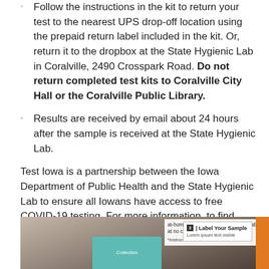Follow the instructions in the kit to return your test to the nearest UPS drop-off location using the prepaid return label included in the kit. Or, return it to the dropbox at the State Hygienic Lab in Coralville, 2490 Crosspark Road. Do not return completed test kits to Coralville City Hall or the Coralville Public Library.
Results are received by email about 24 hours after the sample is received at the State Hygienic Lab.
Test Iowa is a partnership between the Iowa Department of Public Health and the State Hygienic Lab to ensure all Iowans have access to free COVID-19 testing. For more information, to find other at-home test pick-up sites, or to have a COVID-19 test kit sent to you from TestIowa, visit www.testiowa.com or call the State Hygienic Lab at 833-286-8378.
[Figure (photo): Photo of COVID-19 at-home test kit materials on a table, with text cards showing 'at-home COVID-19 test kits are available at no cost to Iowans', 'Label Your Sample', and other kit instructions. An orange strip is visible on the right edge.]